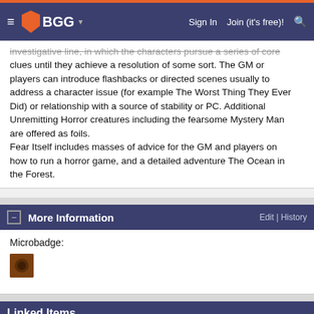BGG  Sign In  Join (it's free)!
investigative line, in which the characters pursue a series of core clues until they achieve a resolution of some sort. The GM or players can introduce flashbacks or directed scenes usually to address a character issue (for example The Worst Thing They Ever Did) or relationship with a source of stability or PC. Additional Unremitting Horror creatures including the fearsome Mystery Man are offered as foils.
Fear Itself includes masses of advice for the GM and players on how to run a horror game, and a detailed adventure The Ocean in the Forest.
More Information  Edit | History
Microbadge:
[Figure (other): Microbadge thumbnail image - small square icon with brown/orange tones]
Linked Items
Relationship: RPG Items  Sort: Name  Category:
Genre: